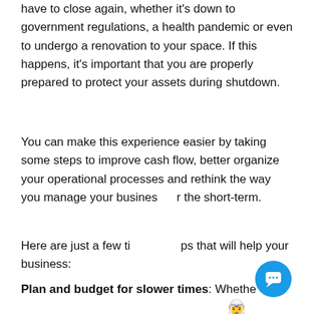have to close again, whether it's down to government regulations, a health pandemic or even to undergo a renovation to your space. If this happens, it's important that you are properly prepared to protect your assets during shutdown.
You can make this experience easier by taking some steps to improve cash flow, better organize your operational processes and rethink the way you manage your business for the short-term.
Here are just a few tips that will help your business:
Plan and budget for slower times: Whether you are anticipating an eventual shutdown or not, it's
[Figure (screenshot): Chat popup widget showing a cartoon female barista avatar with text 'Hey - I'm Sculpture's BaristaBot!' and a close X button, with a blue circular chat button in the bottom right corner.]